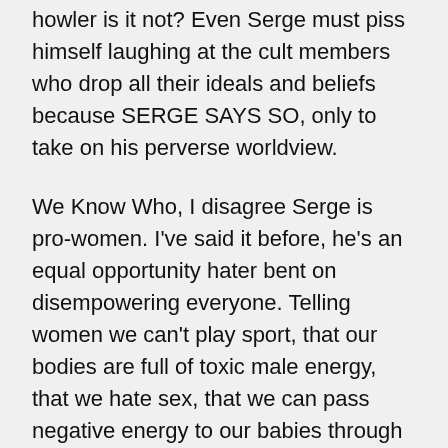howler is it not? Even Serge must piss himself laughing at the cult members who drop all their ideals and beliefs because SERGE SAYS SO, only to take on his perverse worldview.
We Know Who, I disagree Serge is pro-women. I've said it before, he's an equal opportunity hater bent on disempowering everyone. Telling women we can't play sport, that our bodies are full of toxic male energy, that we hate sex, that we can pass negative energy to our babies through our breastmilk, that we should stop eating and stop thinking and be 'soft, gentle, lovely, yummy' and all that sickly BS. Look what he's done to the